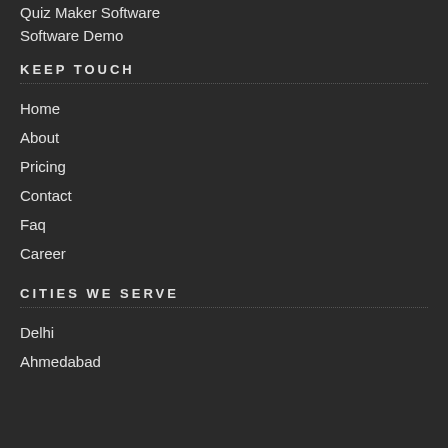Quiz Maker Software
Software Demo
KEEP TOUCH
Home
About
Pricing
Contact
Faq
Career
CITIES WE SERVE
Delhi
Ahmedabad